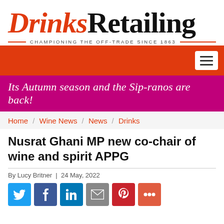[Figure (logo): Drinks Retailing logo with red italic Drinks and black Retailing, tagline CHAMPIONING THE OFF-TRADE SINCE 1863]
[Figure (infographic): Red navigation bar with white hamburger menu button on right]
[Figure (infographic): Magenta/pink promotional banner with white italic text: Its Autumn season and the Sip-ranos are back!]
Home / Wine News / News / Drinks
Nusrat Ghani MP new co-chair of wine and spirit APPG
By Lucy Britner | 24 May, 2022
[Figure (infographic): Social share buttons row: Twitter (blue), Facebook (dark blue), LinkedIn (blue), Email (grey), Pinterest (red), More (orange-red)]